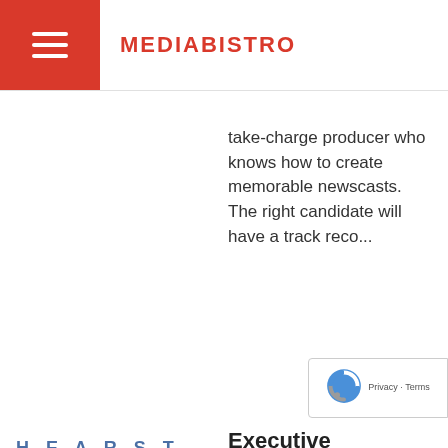MEDIABISTRO
take-charge producer who knows how to create memorable newscasts. The right candidate will have a track reco...
[Figure (logo): Hearst Television logo — 'HEARST' in spaced blue letters with 'television' below]
Executive Producer
Hearst Television - Winter Park, FL, United States (about 1 month ago)
Miles of beaches, world-famous theme parks, historic towns, and plenty to do outdoors. The Orlando market is a fast-paced, competitive market with ...
[Figure (logo): FOX logo in blue bold letters]
Producer/Live News